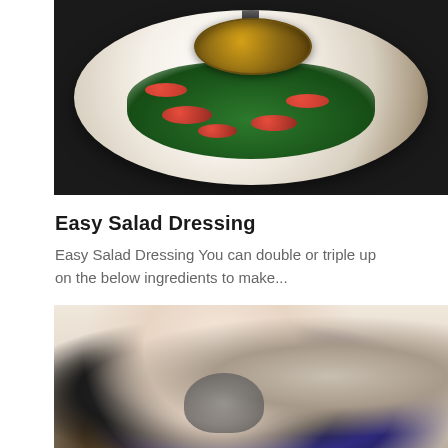[Figure (photo): Overhead shot of a salad with greens and cherry tomatoes on a white plate, with a ladle pouring dressing over the top. Dark background surrounding the plate.]
Easy Salad Dressing
Easy Salad Dressing You can double or triple up on the below ingredients to make...
[Figure (photo): A woman in workout clothes (black sports bra, blue shorts) bending forward, looking down at a small cat on a light-colored floor. A door is visible in the background.]